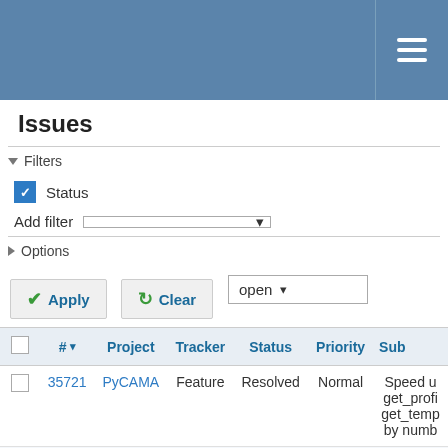Issues tracker header bar with menu icon
Issues
▾ Filters
Status: open
Add filter
▶ Options
Apply
Clear
|  | # | Project | Tracker | Status | Priority | Subject |
| --- | --- | --- | --- | --- | --- | --- |
|  | 35721 | PyCAMA | Feature | Resolved | Normal | Speed up get_profile get_temp by numb |
|  | 35711 | PyCAMA | Bug | Resolved | Normal | Delete us get_pres function TMF |